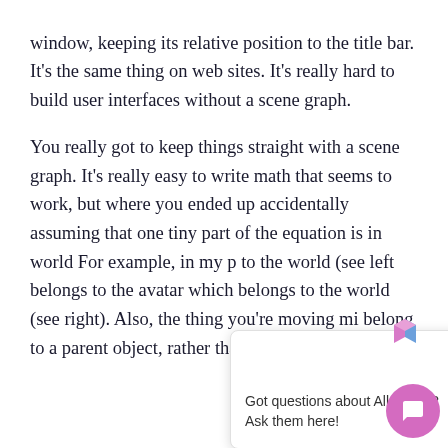window, keeping its relative position to the title bar. It's the same thing on web sites. It's really hard to build user interfaces without a scene graph.
You really got to keep things straight with a scene graph. It's really easy to write math that seems to work, but where you ended up accidentally assuming that one tiny part of the equation is in world For example, in my p to the world (see left belongs to the avatar which belongs to the world (see right). Also, the thing you're moving mi belong to a parent object, rather than being r
[Figure (screenshot): A chat popup widget showing a 3D cube logo icon at top, an X close button, and the text 'Got questions about Alloverse? Ask them here!' with a pink circular chat button in the bottom-right corner.]